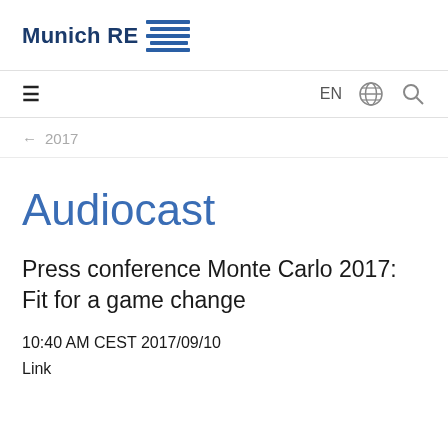Munich RE
← 2017
Audiocast
Press conference Monte Carlo 2017: Fit for a game change
10:40 AM CEST 2017/09/10
Link